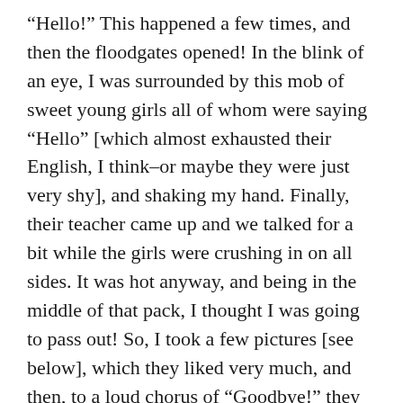“Hello!” This happened a few times, and then the floodgates opened! In the blink of an eye, I was surrounded by this mob of sweet young girls all of whom were saying “Hello” [which almost exhausted their English, I think–or maybe they were just very shy], and shaking my hand. Finally, their teacher came up and we talked for a bit while the girls were crushing in on all sides. It was hot anyway, and being in the middle of that pack, I thought I was going to pass out! So, I took a few pictures [see below], which they liked very much, and then, to a loud chorus of “Goodbye!” they went off. There were a few other Western tourists watching the whole thing–I think they couldn’t believe it! It was funny, but sweet, I thought. They weren’t from Madurai, so maybe where